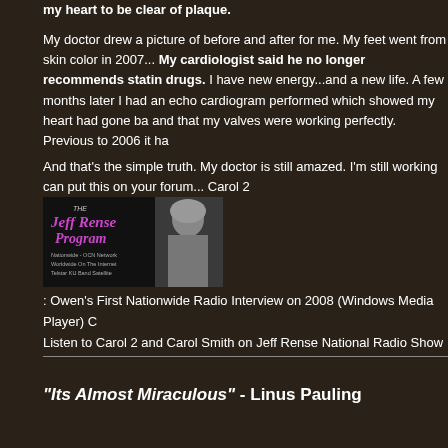my heart to be clear of plaque.

My doctor drew a picture of before and after for me. My feet went from skin color in 2007... My cardiologist said he no longer recommends statin drugs. I have new energy...and a new life. A few months later I had an echo cardiogram performed which showed my heart had gone back and that my valves were working perfectly. Previous to 2006 it ha... And that's the simple truth. My doctor is still amazed. I'm still working can put this on your forum... Carol 2
[Figure (logo): Jeff Rense Program logo with photo of Jeff Rense - Nationwide OCN Network, Worldwide On The Internet, Telstar KU Band Satellite]
: Owen's First Nationwide Radio Interview on 2008 (Windows Media Player) C
Listen to Carol 2 and Carol Smith on Jeff Rense National Radio Show
"Its Almost Miraculous" - Linus Pauling